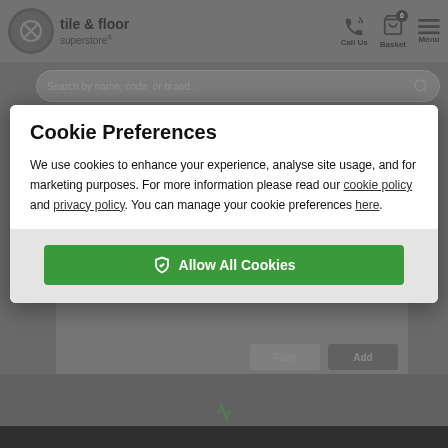[Figure (screenshot): Tile & Floor Superstore website header with logo, Call Us, Basket (0), and Menu icons on grey background]
Cookie Preferences
We use cookies to enhance your experience, analyse site usage, and for marketing purposes. For more information please read our cookie policy and privacy policy. You can manage your cookie preferences here.
[Figure (screenshot): Allow All Cookies green button in modal footer]